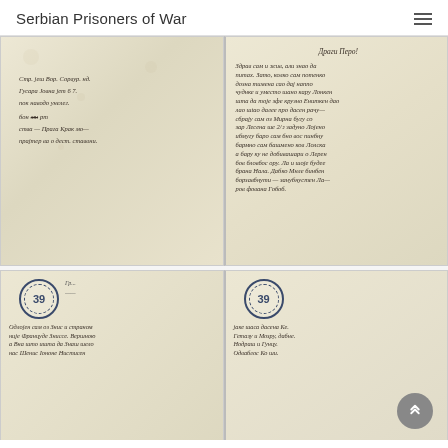Serbian Prisoners of War
[Figure (photo): Two-panel scan of a handwritten letter in Serbian Cyrillic script on aged yellowed paper. Left panel shows the envelope/address side with cursive writing. Right panel shows the main body of the letter beginning with 'Dragi Pero!' with dense handwritten text continuing across multiple lines.]
[Figure (photo): Two-panel scan of the second page of the handwritten letter. Both panels show stamped circular seals with the number 39, and continuation of the handwritten Cyrillic text.]